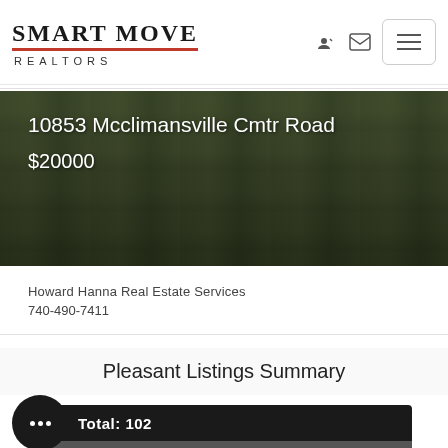SMART MOVE REALTORS
[Figure (photo): Outdoor property photo with dark overlay showing address and price]
10853 Mcclimansville Cmtr Road
$20000
Howard Hanna Real Estate Services
740-490-7411
Pleasant Listings Summary
Total: 102